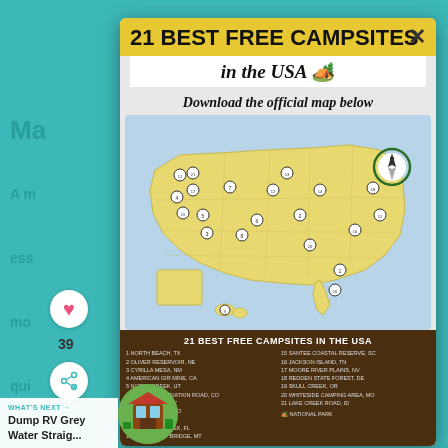21 BEST FREE CAMPSITES in the USA 🏕️
Download the official map below
[Figure (map): Illustrated map of the USA showing 21 best free campsites marked with numbered icons across the country, with decorative wildlife and nature illustrations.]
21 BEST FREE CAMPSITES IN THE USA
1 NORTH BEACH, TX  2 OLIVER RESERVOIR, NE  3 CYRILLA MESA, NM  4 AMERICAN GIR MINE, CA  5 NORTH CREEK, UT  6 JACKSON HOLE/ATKIN ROAD, CO  7 LAKE HATTIE, WY  8 _LL MOUNTAIN, CO  9 GREEN ROAD, HI  10 CYPRESS CREEK, FL  11 BLANKSSHIP BRIDGE, MT  15 SANTEE COASTAL RESERVE, SC  16 JACKSON ISLAND, TN  17 MOORE RIVER PLAINS, NV  18 REDDEN STATE FOREST, DE  19 SKULL CREEK, OR  20 WHITESIDE CAMPING AREA, MO  21 LAKE CREEK ROAD, ID
Dump RV Grey Water Straig...
WHAT'S NEXT →
39